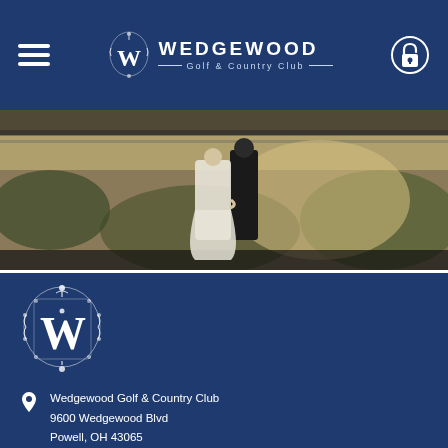Wedgewood Golf & Country Club
[Figure (photo): Wedding couple photo - bride in white dress and groom standing together outdoors with foliage background]
[Figure (logo): Wedgewood Golf & Country Club ornate W crest logo in white on navy background]
Wedgewood Golf & Country Club
9600 Wedgewood Blvd
Powell, OH 43065
Phone: 614 793 9600